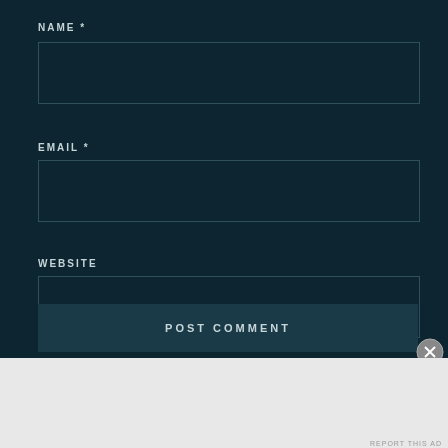NAME *
[Figure (other): Text input field for Name]
EMAIL *
[Figure (other): Text input field for Email]
WEBSITE
[Figure (other): Text input field for Website]
[Figure (other): POST COMMENT button]
Advertisements
[Figure (other): WordPress advertisement banner: Opinions. We all have them!]